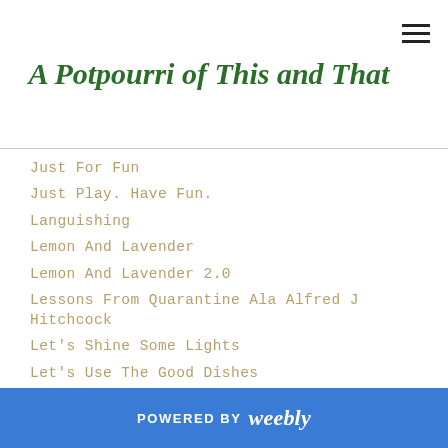A Potpourri of This and That
Just For Fun
Just Play. Have Fun.
Languishing
Lemon And Lavender
Lemon And Lavender 2.0
Lessons From Quarantine Ala Alfred J Hitchcock
Let's Shine Some Lights
Let's Use The Good Dishes
Life And Other Aggravations
Lillordag – Little Saturday
Little Joys
Lockdown The Sequel
POWERED BY weebly